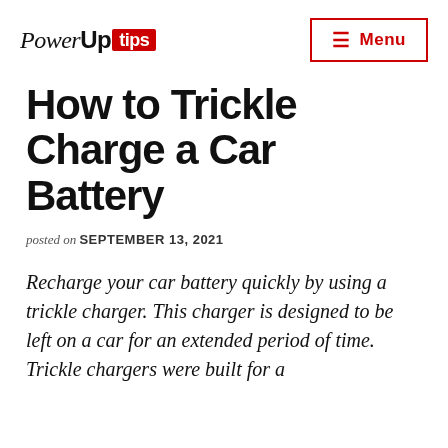PowerUp tips | Menu
How to Trickle Charge a Car Battery
posted on SEPTEMBER 13, 2021
Recharge your car battery quickly by using a trickle charger. This charger is designed to be left on a car for an extended period of time. Trickle chargers were built for a